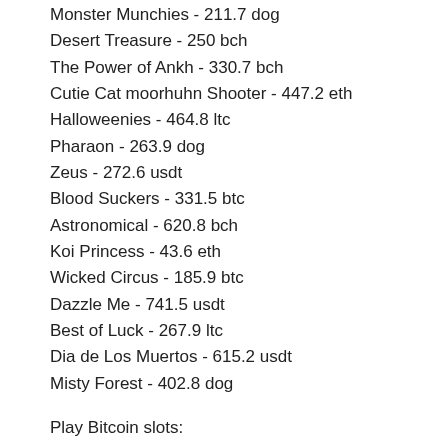Monster Munchies - 211.7 dog
Desert Treasure - 250 bch
The Power of Ankh - 330.7 bch
Cutie Cat moorhuhn Shooter - 447.2 eth
Halloweenies - 464.8 ltc
Pharaon - 263.9 dog
Zeus - 272.6 usdt
Blood Suckers - 331.5 btc
Astronomical - 620.8 bch
Koi Princess - 43.6 eth
Wicked Circus - 185.9 btc
Dazzle Me - 741.5 usdt
Best of Luck - 267.9 ltc
Dia de Los Muertos - 615.2 usdt
Misty Forest - 402.8 dog
Play Bitcoin slots:
CryptoWild Casino Fruitoids
Vegas Crest Casino Disco Bar 7s
BitcoinCasino.us Star Fortune